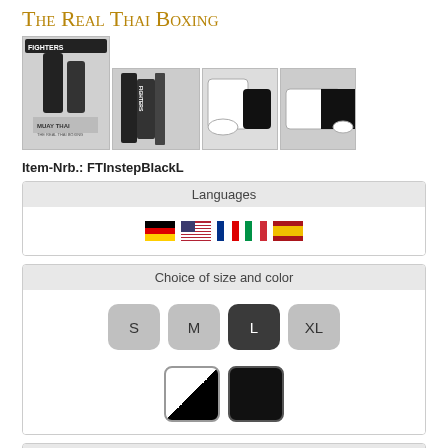The Real Thai Boxing
[Figure (photo): Product images of Thai boxing instep guard in black, showing multiple angles]
Item-Nrb.: FTInstepBlackL
Languages
[Figure (illustration): Flag icons for Germany, USA, France, Italy, and Spain]
Choice of size and color
[Figure (illustration): Size buttons: S, M, L (selected/active), XL; color swatches: black/white and black]
Article Description
for training and competition
hard-wearing artificial leather
3-fold velcro